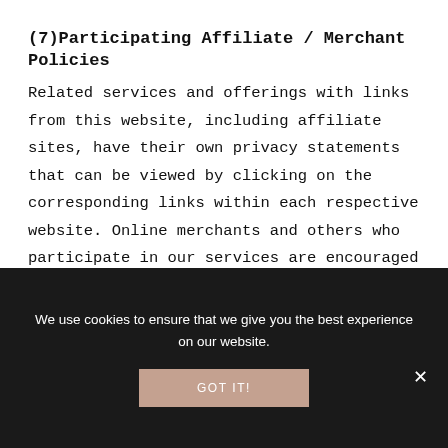(7)Participating Affiliate / Merchant Policies
Related services and offerings with links from this website, including affiliate sites, have their own privacy statements that can be viewed by clicking on the corresponding links within each respective website. Online merchants and others who participate in our services are encouraged to participate in industry privacy initiatives and to take a responsible attitude towards consumer privacy. However, since we do not have direct control over the policies or practices of participating merchants and other third parties, we are
We use cookies to ensure that we give you the best experience on our website.